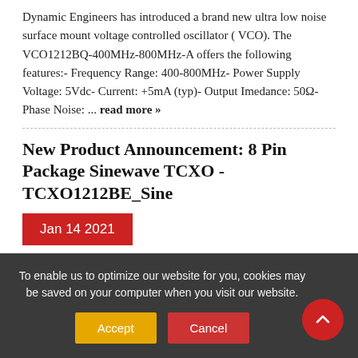Dynamic Engineers has introduced a brand new ultra low noise surface mount voltage controlled oscillator ( VCO).  The VCO1212BQ-400MHz-800MHz-A offers the following features:- Frequency Range: 400-800MHz- Power Supply Voltage: 5Vdc- Current: +5mA (typ)- Output Imedance: 50Ω- Phase Noise: ... read more »
New Product Announcement: 8 Pin Package Sinewave TCXO - TCXO1212BE_Sine
Jan 14 2021
Dynamic Engineers has announced an 8 pin package Sinewave Temperature Compensated crystal oscillator (TCXO).  The TCXO1212BE_Sine offers the following:- Frequency Range: 10-50MHz- Supply Voltage: 3.3V or 5.0V- Steady Current: 12-30mA Max- Output
To enable us to optimize our website for you, cookies may be saved on your computer when you visit our website.